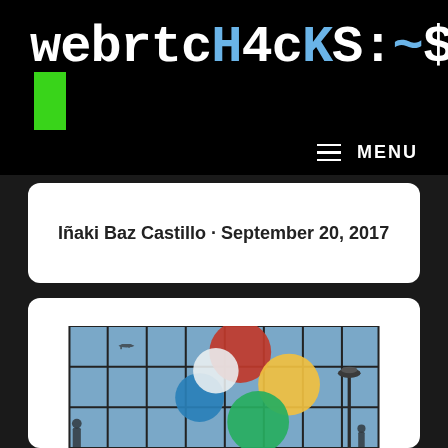webrtcH4cKS:~$ [green block]
MENU
Iñaki Baz Castillo · September 20, 2017
[Figure (photo): Google logo mural on a glass building facade with grid window pattern, showing colorful Google logo circles (red, yellow, green, blue, white) viewed through gridded glass panels, with a street lamp and airplane silhouette visible in background sky]